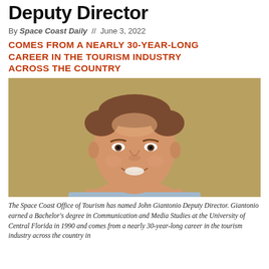Deputy Director
By Space Coast Daily // June 3, 2022
COMES FROM A NEARLY 30-YEAR-LONG CAREER IN THE TOURISM INDUSTRY ACROSS THE COUNTRY
[Figure (photo): Headshot of John Giantonio, a middle-aged man with short hair, smiling, against a tan/gold background]
The Space Coast Office of Tourism has named John Giantonio Deputy Director. Giantonio earned a Bachelor's degree in Communication and Media Studies at the University of Central Florida in 1990 and comes from a nearly 30-year-long career in the tourism industry across the country in